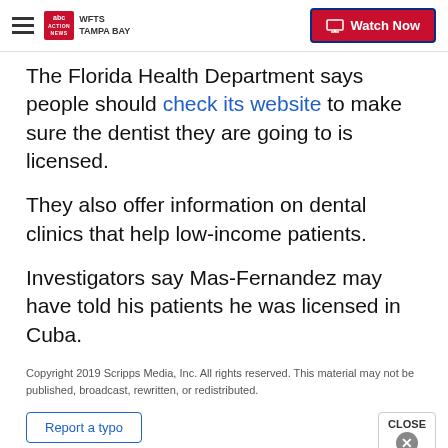WFTS TAMPA BAY | Watch Now
The Florida Health Department says people should check its website to make sure the dentist they are going to is licensed.
They also offer information on dental clinics that help low-income patients.
Investigators say Mas-Fernandez may have told his patients he was licensed in Cuba.
Copyright 2019 Scripps Media, Inc. All rights reserved. This material may not be published, broadcast, rewritten, or redistributed.
Report a typo
CLOSE